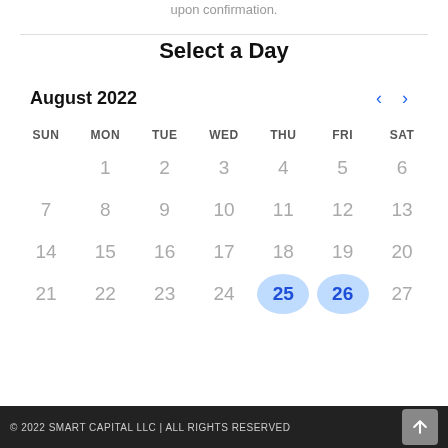upon confirmation.
Select a Day
August 2022
| SUN | MON | TUE | WED | THU | FRI | SAT |
| --- | --- | --- | --- | --- | --- | --- |
|  | 1 | 2 | 3 | 4 | 5 | 6 |
| 7 | 8 | 9 | 10 | 11 | 12 | 13 |
| 14 | 15 | 16 | 17 | 18 | 19 | 20 |
| 21 | 22 | 23 | 24 | 25 | 26 | 27 |
© 2022 SMART CAPITAL LLC | ALL RIGHTS RESERVED